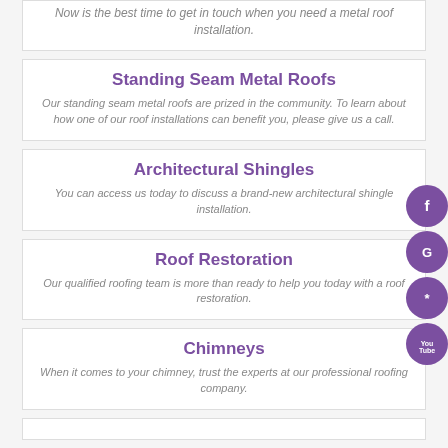Now is the best time to get in touch when you need a metal roof installation.
Standing Seam Metal Roofs
Our standing seam metal roofs are prized in the community. To learn about how one of our roof installations can benefit you, please give us a call.
Architectural Shingles
You can access us today to discuss a brand-new architectural shingle installation.
Roof Restoration
Our qualified roofing team is more than ready to help you today with a roof restoration.
Chimneys
When it comes to your chimney, trust the experts at our professional roofing company.